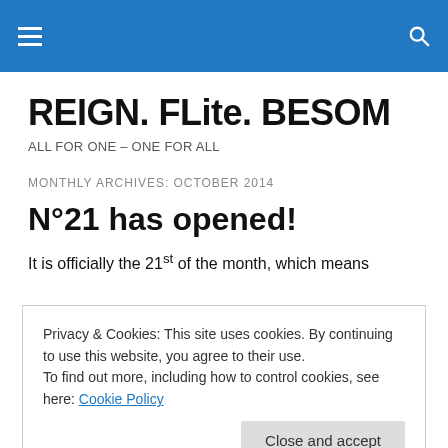REIGN. FLite. BESOM — site navigation header with menu and search icons
REIGN. FLite. BESOM
ALL FOR ONE – ONE FOR ALL
MONTHLY ARCHIVES: OCTOBER 2014
N°21 has opened!
It is officially the 21st of the month, which means
Privacy & Cookies: This site uses cookies. By continuing to use this website, you agree to their use.
To find out more, including how to control cookies, see here: Cookie Policy
N°21 will not be sold in stores again once the round is